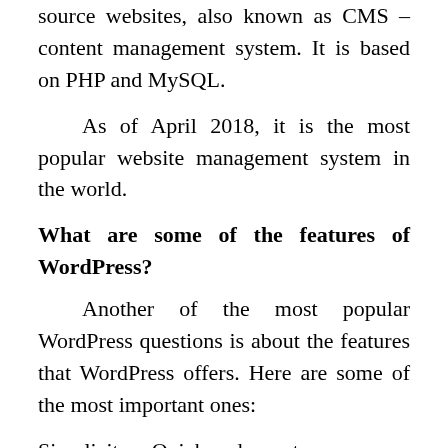source websites, also known as CMS – content management system. It is based on PHP and MySQL.
As of April 2018, it is the most popular website management system in the world.
What are some of the features of WordPress?
Another of the most popular WordPress questions is about the features that WordPress offers. Here are some of the most important ones:
Simplicity – Quick and easy to use